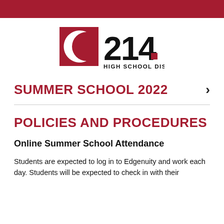[Figure (logo): High School District 214 logo: red square with white crescent arc on left side, bold black text '214' on right, and 'HIGH SCHOOL DISTRICT' below in black text]
SUMMER SCHOOL 2022
POLICIES AND PROCEDURES
Online Summer School Attendance
Students are expected to log in to Edgenuity and work each day. Students will be expected to check in with their